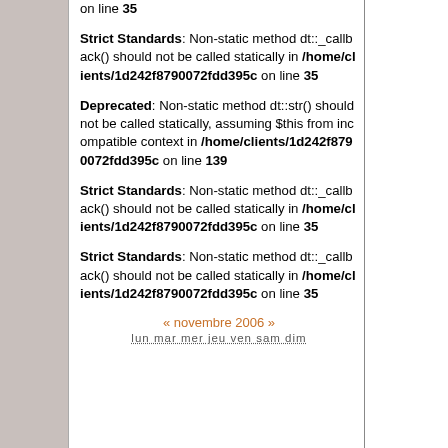on line 35
Strict Standards: Non-static method dt::_callback() should not be called statically in /home/clients/1d242f8790072fdd395c on line 35
Deprecated: Non-static method dt::str() should not be called statically, assuming $this from incompatible context in /home/clients/1d242f8790072fdd395c on line 139
Strict Standards: Non-static method dt::_callback() should not be called statically in /home/clients/1d242f8790072fdd395c on line 35
Strict Standards: Non-static method dt::_callback() should not be called statically in /home/clients/1d242f8790072fdd395c on line 35
« novembre 2006 »
lun mar mer jeu ven sam dim